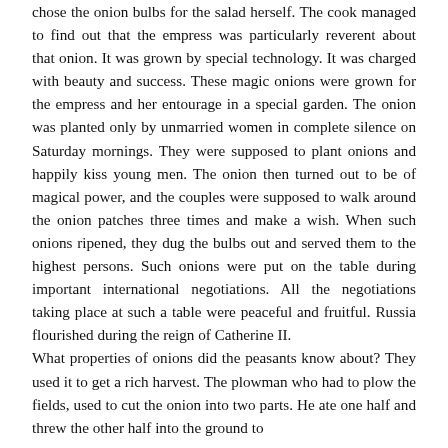chose the onion bulbs for the salad herself. The cook managed to find out that the empress was particularly reverent about that onion. It was grown by special technology. It was charged with beauty and success. These magic onions were grown for the empress and her entourage in a special garden. The onion was planted only by unmarried women in complete silence on Saturday mornings. They were supposed to plant onions and happily kiss young men. The onion then turned out to be of magical power, and the couples were supposed to walk around the onion patches three times and make a wish. When such onions ripened, they dug the bulbs out and served them to the highest persons. Such onions were put on the table during important international negotiations. All the negotiations taking place at such a table were peaceful and fruitful. Russia flourished during the reign of Catherine II.
What properties of onions did the peasants know about? They used it to get a rich harvest. The plowman who had to plow the fields, used to cut the onion into two parts. He ate one half and threw the other half into the ground to